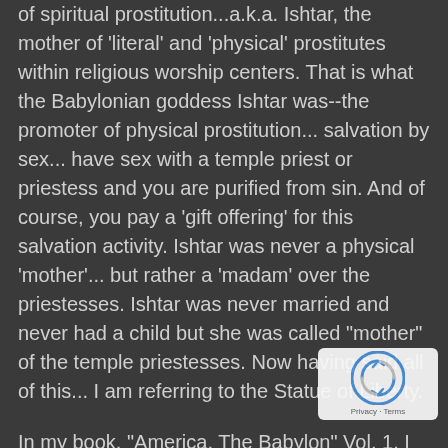of spiritual prostitution...a.k.a. Ishtar, the mother of 'literal' and 'physical' prostitutes within religious worship centers. That is what the Babylonian goddess Ishtar was--the promoter of physical prostitution... salvation by sex... have sex with a temple priest or priestess and you are purified from sin. And of course, you pay a 'gift offering' for this salvation activity. Ishtar was never a physical 'mother'... but rather a 'madam' over the priestesses. Ishtar was never married and never had a child but she was called "mother" of the temple priestesses. Now having said all of this... I am referring to the Statue of Liberty.
In my book, "America, The Babylon" Vol. 1, I explain the meticulous research involved that shows that the Statue of Liberty is, in fact, the brainchild of the sculptor Bartholdi. Later in Volume 2, you will find even more data on this subject. I would like to note...